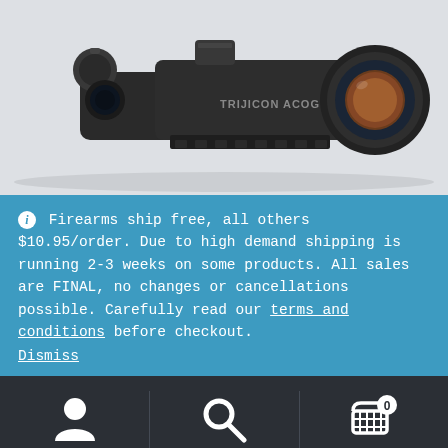[Figure (photo): A tactical rifle scope (Trijicon ACOG style) with dark body, mounted base, and large objective lens, on light grey background]
ℹ Firearms ship free, all others $10.95/order. Due to high demand shipping is running 2-3 weeks on some products. All sales are FINAL, no changes or cancellations possible. Carefully read our terms and conditions before checkout.
Dismiss
[Figure (screenshot): Dark bottom navigation bar with three icons: user/account icon, search icon, and shopping cart icon with badge showing 0]